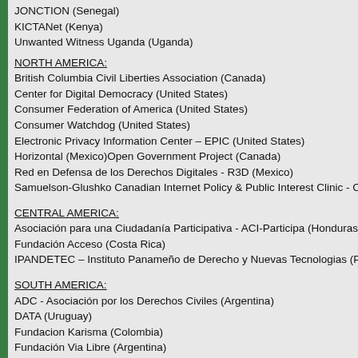JONCTION (Senegal)
KICTANet (Kenya)
Unwanted Witness Uganda (Uganda)
NORTH AMERICA:
British Columbia Civil Liberties Association (Canada)
Center for Digital Democracy (United States)
Consumer Federation of America (United States)
Consumer Watchdog (United States)
Electronic Privacy Information Center – EPIC (United States)
Horizontal (Mexico)Open Government Project (Canada)
Red en Defensa de los Derechos Digitales - R3D (Mexico)
Samuelson-Glushko Canadian Internet Policy & Public Interest Clinic - CIPPIC (C
CENTRAL AMERICA:
Asociación para una Ciudadanía Participativa - ACI-Participa (Honduras)
Fundación Acceso (Costa Rica)
IPANDETEC – Instituto Panameño de Derecho y Nuevas Tecnologias (Panama)
SOUTH AMERICA:
ADC - Asociación por los Derechos Civiles (Argentina)
DATA (Uruguay)
Fundacion Karisma (Colombia)
Fundación Via Libre (Argentina)
Hiperderecho (Peru)
TEDIC (Paraguay)
ASIA:
Bytes for All (Pakistan)CIS India (India)
Digital Rights Foundation (Pakistan)
Foundation for Media Alternatives (Philippines)
AUSTRALIA:
Australian Privacy Foundation (Australia)